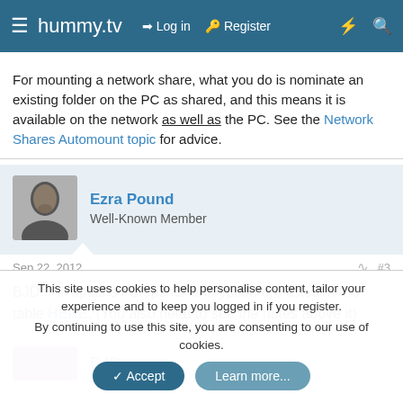hummy.tv — Log in | Register
For mounting a network share, what you do is nominate an existing folder on the PC as shared, and this means it is available on the network as well as the PC. See the Network Shares Automount topic for advice.
Ezra Pound
Well-Known Member
Sep 22, 2012  #3
BJD : All options / Steps for encryption are listed in the table HERE, (You also need to see the notes above it)
BJD
This site uses cookies to help personalise content, tailor your experience and to keep you logged in if you register.
By continuing to use this site, you are consenting to our use of cookies.